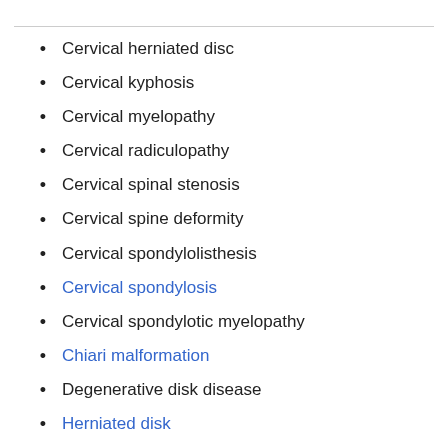Cervical herniated disc
Cervical kyphosis
Cervical myelopathy
Cervical radiculopathy
Cervical spinal stenosis
Cervical spine deformity
Cervical spondylolisthesis
Cervical spondylosis
Cervical spondylotic myelopathy
Chiari malformation
Degenerative disk disease
Herniated disk